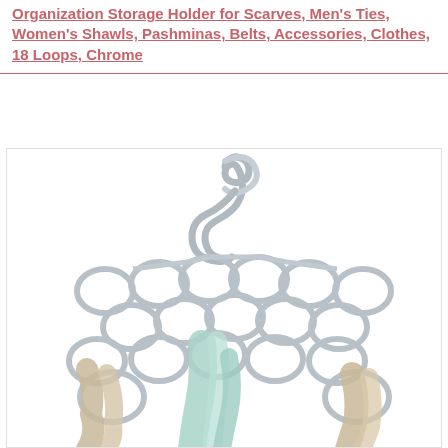Organization Storage Holder for Scarves, Men's Ties, Women's Shawls, Pashminas, Belts, Accessories, Clothes, 18 Loops, Chrome
[Figure (photo): A chrome scarf/tie organizer hanger with 18 oval loops arranged in rows, with colorful scarves draped through several of the loops. The hanger has an S-hook at the top for hanging in a closet.]